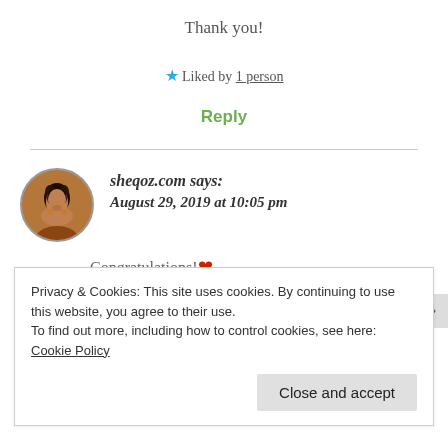Thank you!
★ Liked by 1 person
Reply
sheqoz.com says: August 29, 2019 at 10:05 pm
Congratulations! ❤
Privacy & Cookies: This site uses cookies. By continuing to use this website, you agree to their use.
To find out more, including how to control cookies, see here: Cookie Policy
Close and accept